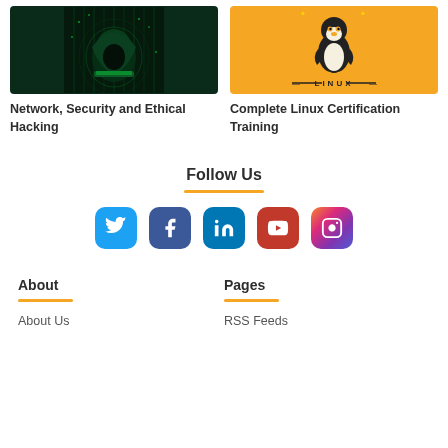[Figure (photo): Dark cyberpunk hacker image with hooded figure and green digital matrix background]
Network, Security and Ethical Hacking
[Figure (illustration): Linux penguin mascot with wands on orange/yellow background with text LINUX]
Complete Linux Certification Training
Follow Us
[Figure (infographic): Social media icons row: Twitter, Facebook, LinkedIn, YouTube, Instagram]
About
About Us
Pages
RSS Feeds